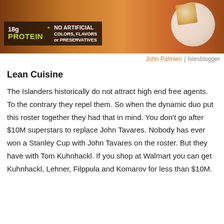[Figure (photo): Food product advertisement banner showing breaded chicken or fish with pasta and tomatoes, with overlay text reading '18g PROTEIN' and 'NO ARTIFICIAL COLORS, FLAVORS or PRESERVATIVES']
John Palmieri | Islesblogger
Lean Cuisine
The Islanders historically do not attract high end free agents. To the contrary they repel them. So when the dynamic duo put this roster together they had that in mind. You don't go after $10M superstars to replace John Tavares. Nobody has ever won a Stanley Cup with John Tavares on the roster. But they have with Tom Kuhnhackl. If you shop at Walmart you can get Kuhnhackl, Lehner, Filppula and Komarov for less than $10M.